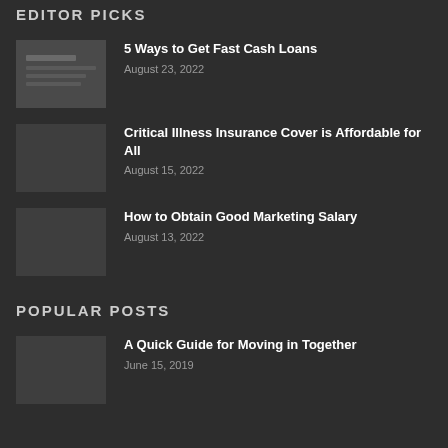EDITOR PICKS
5 Ways to Get Fast Cash Loans
August 23, 2022
Critical Illness Insurance Cover is Affordable for All
August 15, 2022
How to Obtain Good Marketing Salary
August 13, 2022
POPULAR POSTS
A Quick Guide for Moving in Together
June 15, 2019